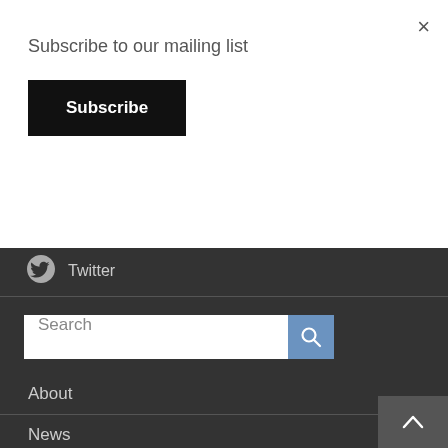×
Subscribe to our mailing list
Subscribe
Twitter
Search
About
News
Events
Programs
Links
Apply for Funding